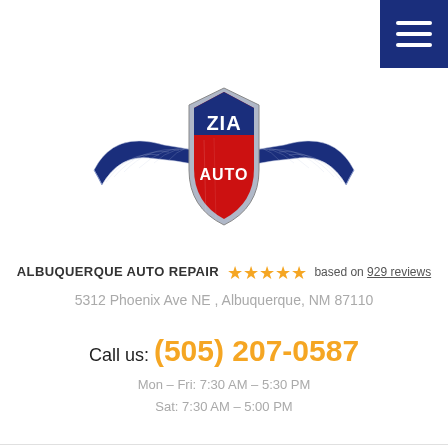[Figure (logo): Zia Auto winged logo with red shield, white ZIA text and AUTO text below, dark navy wings]
ALBUQUERQUE AUTO REPAIR ★★★★★ based on 929 reviews
5312 Phoenix Ave NE , Albuquerque, NM 87110
Call us: (505) 207-0587
Mon – Fri: 7:30 AM – 5:30 PM
Sat: 7:30 AM – 5:00 PM
Home > Services > Wheel Alignment